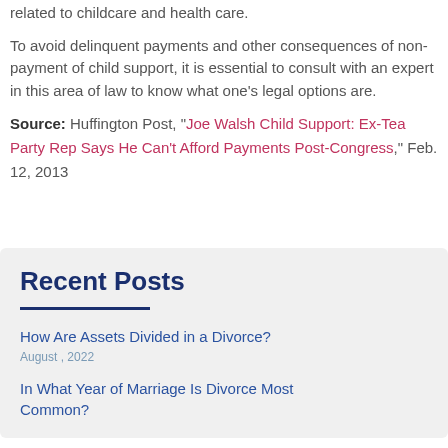related to childcare and health care.
To avoid delinquent payments and other consequences of non-payment of child support, it is essential to consult with an expert in this area of law to know what one's legal options are.
Source: Huffington Post, "Joe Walsh Child Support: Ex-Tea Party Rep Says He Can't Afford Payments Post-Congress," Feb. 12, 2013
Recent Posts
How Are Assets Divided in a Divorce?
August , 2022
In What Year of Marriage Is Divorce Most Common?